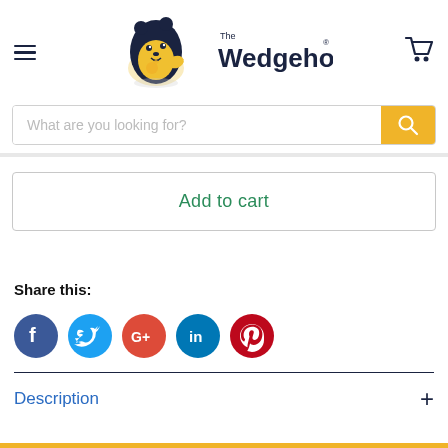[Figure (logo): The Wedgehog logo — hedgehog mascot character in dark blue and yellow with text 'The Wedgehog' in dark navy]
What are you looking for?
Add to cart
Share this:
[Figure (infographic): Social sharing icons: Facebook (blue), Twitter (light blue), Google+ (red), LinkedIn (dark blue), Pinterest (dark red)]
Description